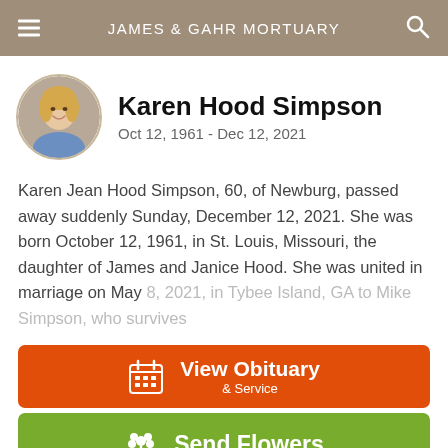JAMES & GAHR MORTUARY
[Figure (photo): Circular headshot of Karen Hood Simpson, a blonde woman in a blue shirt]
Karen Hood Simpson
Oct 12, 1961 - Dec 12, 2021
Karen Jean Hood Simpson, 60, of Newburg, passed away suddenly Sunday, December 12, 2021. She was born October 12, 1961, in St. Louis, Missouri, the daughter of James and Janice Hood. She was united in marriage on May 8, 2021, in Tybee Island, GA to Mike Simpson, who survives
View Obituary & Service
Send Flowers
Share